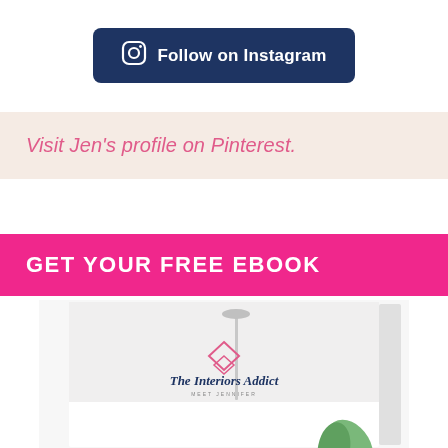[Figure (other): Dark navy rounded rectangle button with Instagram camera icon and text 'Follow on Instagram' in white]
Visit Jen's profile on Pinterest.
GET YOUR FREE EBOOK
[Figure (photo): Partial view of The Interiors Addict ebook cover showing a bathroom interior with the logo]